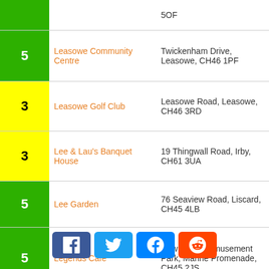| Score | Name | Address |
| --- | --- | --- |
|  |  | 5OF |
| 5 | Leasowe Community Centre | Twickenham Drive, Leasowe, CH46 1PF |
| 3 | Leasowe Golf Club | Leasowe Road, Leasowe, CH46 3RD |
| 3 | Lee & Lau's Banquet House | 19 Thingwall Road, Irby, CH61 3UA |
| 5 | Lee Garden | 76 Seaview Road, Liscard, CH45 4LB |
| 5 | Legends Cafe | New Palace Amusement Park, Marine Promenade, CH45 2JS |
| 5 | Lever Social Club | The Pavilion, Greendale Road, CH62 4XB |
| 5 | Lifestyle Express | 1 Green Lane, Tranmere, 9AD |
|  |  |  |